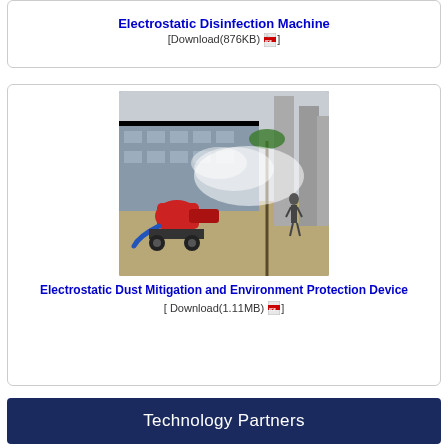[Figure (photo): Partial view of Electrostatic Disinfection Machine product photo at top of page]
Electrostatic Disinfection Machine
[Download(876KB)]
[Figure (photo): Photo of a large red electrostatic dust mitigation cannon spraying mist outdoors near a building]
Electrostatic Dust Mitigation and Environment Protection Device
[ Download(1.11MB) ]
Technology Partners